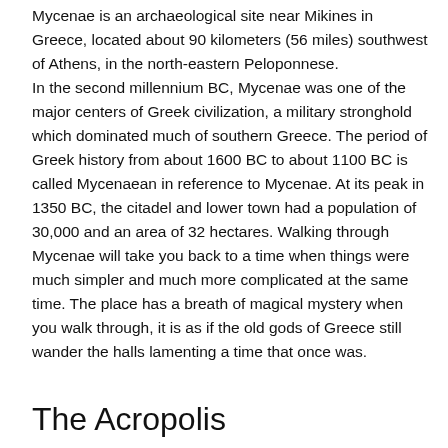Mycenae is an archaeological site near Mikines in Greece, located about 90 kilometers (56 miles) southwest of Athens, in the north-eastern Peloponnese. In the second millennium BC, Mycenae was one of the major centers of Greek civilization, a military stronghold which dominated much of southern Greece. The period of Greek history from about 1600 BC to about 1100 BC is called Mycenaean in reference to Mycenae. At its peak in 1350 BC, the citadel and lower town had a population of 30,000 and an area of 32 hectares. Walking through Mycenae will take you back to a time when things were much simpler and much more complicated at the same time. The place has a breath of magical mystery when you walk through, it is as if the old gods of Greece still wander the halls lamenting a time that once was.
The Acropolis